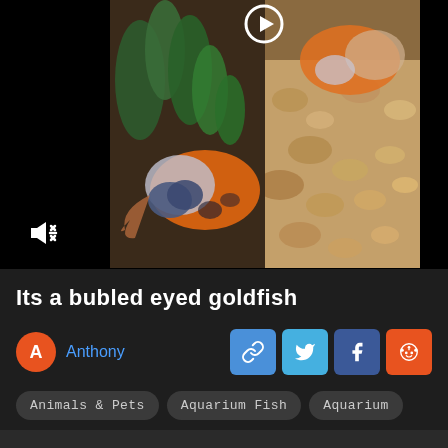[Figure (photo): Aquarium video screenshot showing bubble-eyed goldfish with orange and blue-grey coloring, green aquatic plants, and pebble substrate. Play button circle visible at top center. Mute icon at lower left.]
Its a bubled eyed goldfish
Anthony
[Figure (infographic): Share buttons row: link icon (blue), Twitter bird (light blue), Facebook f (dark blue), Reddit alien (orange)]
Animals & Pets
Aquarium Fish
Aquarium